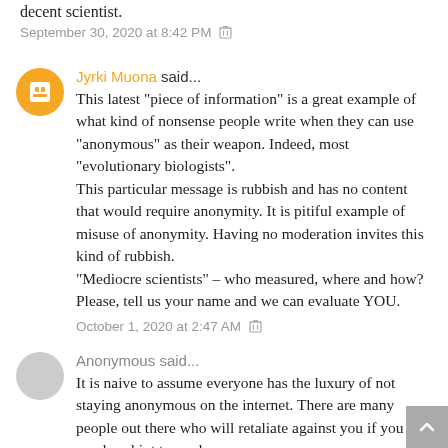decent scientist.
September 30, 2020 at 8:42 PM
Jyrki Muona said...
This latest "piece of information" is a great example of what kind of nonsense people write when they can use "anonymous" as their weapon. Indeed, most "evolutionary biologists".
This particular message is rubbish and has no content that would require anonymity. It is pitiful example of misuse of anonymity. Having no moderation invites this kind of rubbish.
"Mediocre scientists" – who measured, where and how? Please, tell us your name and we can evaluate YOU.
October 1, 2020 at 2:47 AM
Anonymous said...
It is naive to assume everyone has the luxury of not staying anonymous on the internet. There are many people out there who will retaliate against you if you so much as hint towards